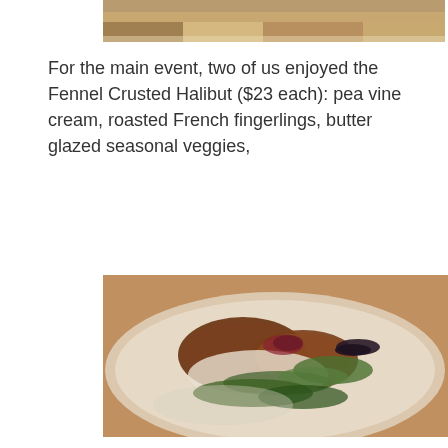[Figure (photo): Partial view of a food dish photo, cropped at top of page]
For the main event, two of us enjoyed the Fennel Crusted Halibut ($23 each): pea vine cream, roasted French fingerlings, butter glazed seasonal veggies,
[Figure (photo): Plated Fennel Crusted Halibut dish on a white plate with greens and microgreens, served at a restaurant]
while my husband savored the Carlton Farms Pork